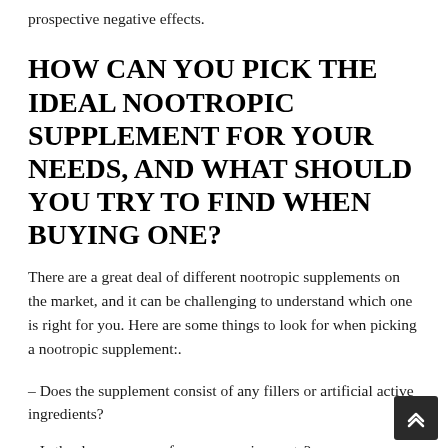prospective negative effects.
HOW CAN YOU PICK THE IDEAL NOOTROPIC SUPPLEMENT FOR YOUR NEEDS, AND WHAT SHOULD YOU TRY TO FIND WHEN BUYING ONE?
There are a great deal of different nootropic supplements on the market, and it can be challenging to understand which one is right for you. Here are some things to look for when picking a nootropic supplement:.
– Does the supplement consist of any fillers or artificial active ingredients?
– Is the dosage proper for your requirements?